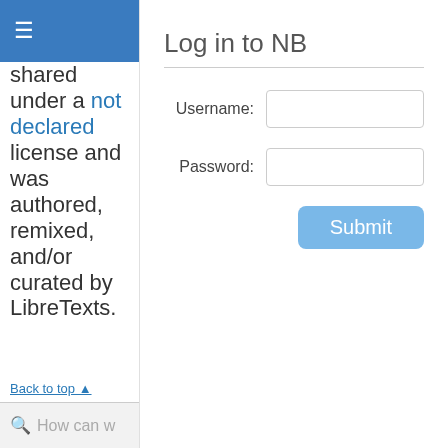[Figure (screenshot): Blue navigation header bar with hamburger menu icon]
Scientific Method is shared under a not declared license and was authored, remixed, and/or curated by LibreTexts.
Back to top ▲
[Figure (screenshot): Search bar with magnifying glass icon and placeholder text 'How can w']
Log in to NB
Username:
Password:
Submit